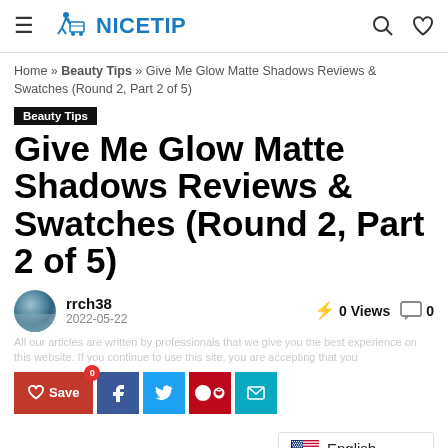NICETIP
Home » Beauty Tips » Give Me Glow Matte Shadows Reviews & Swatches (Round 2, Part 2 of 5)
Beauty Tips
Give Me Glow Matte Shadows Reviews & Swatches (Round 2, Part 2 of 5)
rrch38
2022-05-22
0 Views
0
Save 0
English